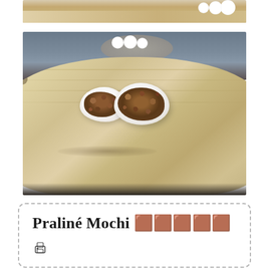[Figure (photo): Top portion of a cutting board with white mochi balls visible at the top edge, cropped photo]
[Figure (photo): A bamboo cutting board with two mochi pieces cut open revealing a dark praline filling, with more white mochi balls on a plate in the blurred background]
Praliné Mochi 🟫🟫🟫🟫🟫
[Figure (other): Print icon (printer symbol)]